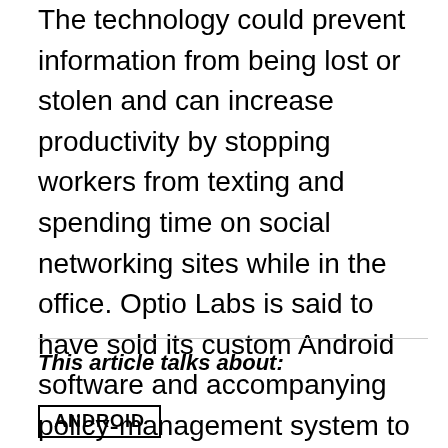The technology could prevent information from being lost or stolen and can increase productivity by stopping workers from texting and spending time on social networking sites while in the office. Optio Labs is said to have sold its custom Android software and accompanying policy-management system to undisclosed systems integrators and smartphone manufacturers. Android devices containing the software are expected to arrive on the market in late 2013.
This article talks about:
ANDROID